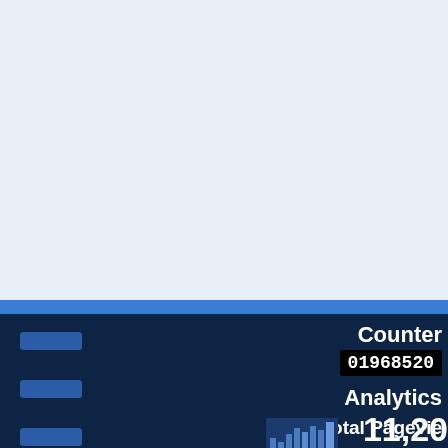[Figure (screenshot): Top portion of a web analytics dashboard showing a light blue/white chart area (upper half of screen), a blue horizontal divider bar, and a dark navy blue lower panel with sidebar navigation buttons and analytics stats including Counter value 01968520, Analytics label, Total Pageviews label, a small bar chart thumbnail, and the beginning of a number 11,20...]
Counter
01968520
Analytics
Total Pageviews
11,20